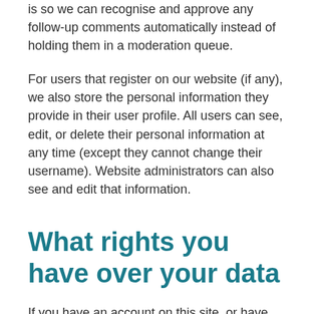is so we can recognise and approve any follow-up comments automatically instead of holding them in a moderation queue.
For users that register on our website (if any), we also store the personal information they provide in their user profile. All users can see, edit, or delete their personal information at any time (except they cannot change their username). Website administrators can also see and edit that information.
What rights you have over your data
If you have an account on this site, or have